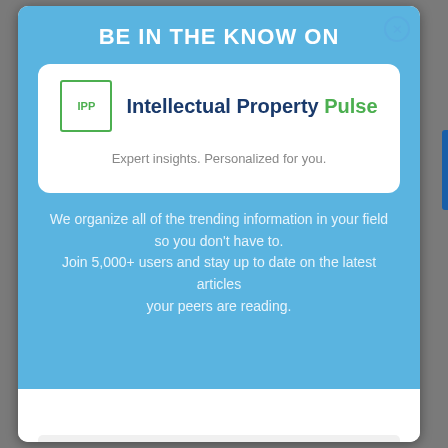BE IN THE KNOW ON
[Figure (logo): IPP logo — square green border with 'IPP' text inside]
Intellectual Property Pulse
Expert insights. Personalized for you.
We organize all of the trending information in your field so you don't have to. Join 5,000+ users and stay up to date on the latest articles your peers are reading.
Email
Sign Up